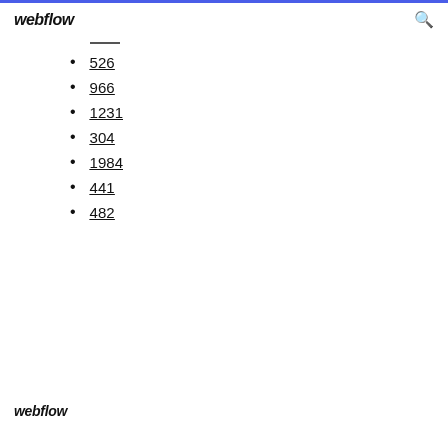webflow
526
966
1231
304
1984
441
482
webflow